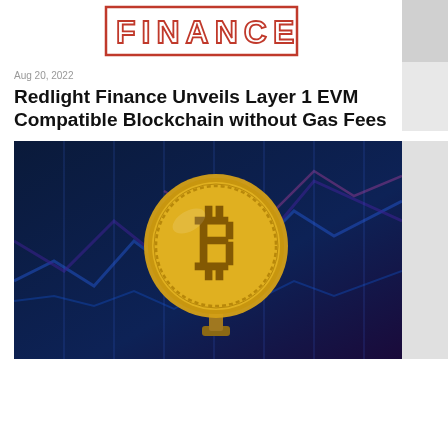[Figure (logo): FINANCE text logo in red outlined block letters on white background]
Aug 20, 2022
Redlight Finance Unveils Layer 1 EVM Compatible Blockchain without Gas Fees
[Figure (photo): A gold Bitcoin coin on a trophy stand against a blurred blue and purple stock chart background]